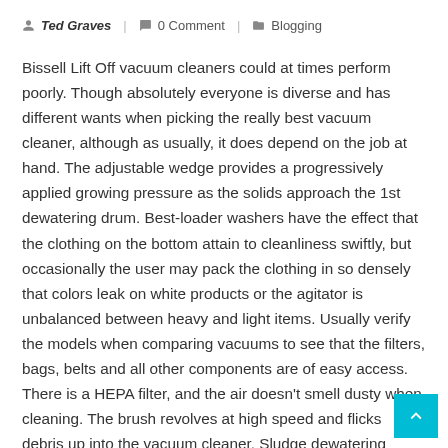Ted Graves | 0 Comment | Blogging
Bissell Lift Off vacuum cleaners could at times perform poorly. Though absolutely everyone is diverse and has different wants when picking the really best vacuum cleaner, although as usually, it does depend on the job at hand. The adjustable wedge provides a progressively applied growing pressure as the solids approach the 1st dewatering drum. Best-loader washers have the effect that the clothing on the bottom attain to cleanliness swiftly, but occasionally the user may pack the clothing in so densely that colors leak on white products or the agitator is unbalanced between heavy and light items. Usually verify the models when comparing vacuums to see that the filters, bags, belts and all other components are of easy access. There is a HEPA filter, and the air doesn't smell dusty when cleaning. The brush revolves at high speed and flicks debris up into the vacuum cleaner. Sludge dewatering installation in the Comby" version characteristics the belt filter press PL series a belt thickener SG mounted on it. Resolution: Check the air pressure, the deviation adjustment valve, the filter induction roller, the